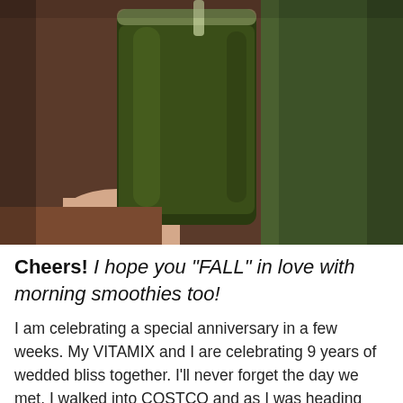[Figure (photo): Close-up photo of a dark green smoothie in a clear plastic cup being held by a hand, with a blurred green hedge and reddish-brown ground in the background.]
Cheers! I hope you "FALL" in love with morning smoothies too!
I am celebrating a special anniversary in a few weeks. My VITAMIX and I are celebrating 9 years of wedded bliss together. I'll never forget the day we met. I walked into COSTCO and as I was heading towards the olive oil aisle the smell of